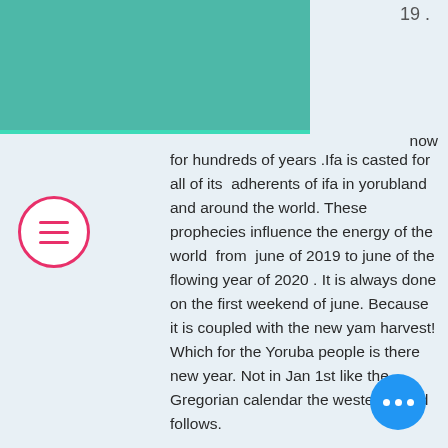19 .
[Figure (screenshot): Teal rectangular header block with a horizontal teal line below it]
now for hundreds of years .Ifa is casted for all of its  adherents of ifa in yorubland and around the world. These prophecies influence the energy of the world  from  june of 2019 to june of the flowing year of 2020 . It is always done on the first weekend of june. Because it is coupled with the new yam harvest! Which for the Yoruba people is there new year. Not in Jan 1st like the Gregorian calendar the western world follows.
[Figure (infographic): Pink/red circle with hamburger menu (three horizontal lines) icon]
[Figure (infographic): Blue circle with three white dots (more options button)]